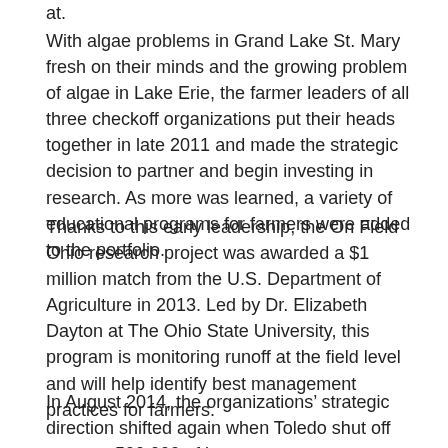at.
With algae problems in Grand Lake St. Mary fresh on their minds and the growing problem of algae in Lake Erie, the farmer leaders of all three checkoff organizations put their heads together in late 2011 and made the strategic decision to partner and begin investing in research. As more was learned, a variety of educational programs for farmers were added to the portfolio.
Thanks to this early leadership, the On Field Ohio research project was awarded a $1 million match from the U.S. Department of Agriculture in 2013. Led by Dr. Elizabeth Dayton at The Ohio State University, this program is monitoring runoff at the field level and will help identify best management practices for farmers.
In August 2014, the organizations’ strategic direction shifted again when Toledo shut off water to 500,000 of its